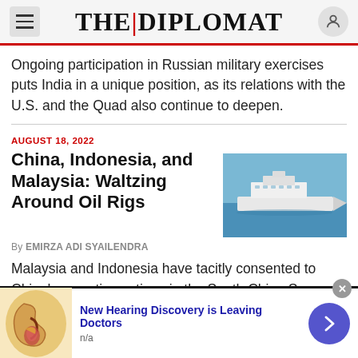THE│DIPLOMAT
Ongoing participation in Russian military exercises puts India in a unique position, as its relations with the U.S. and the Quad also continue to deepen.
AUGUST 18, 2022
China, Indonesia, and Malaysia: Waltzing Around Oil Rigs
[Figure (photo): A white military/coast guard ship sailing on blue sea water]
By EMIRZA ADI SYAILENDRA
Malaysia and Indonesia have tacitly consented to China’s assertive actions in the South China Sea.
[Figure (illustration): Advertisement banner: anatomical illustration of a human ear]
New Hearing Discovery is Leaving Doctors
n/a